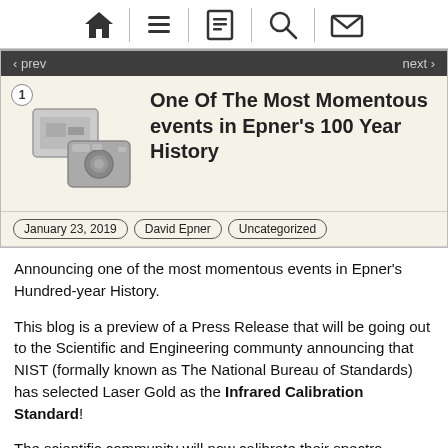Navigation bar with home, menu, document, search, and email icons
One Of The Most Momentous events in Epner's 100 Year History
January 23, 2019 · David Epner · Uncategorized
Announcing one of the most momentous events in Epner's Hundred-year History.
This blog is a preview of a Press Release that will be going out to the Scientific and Engineering communty announcing that NIST (formally known as The National Bureau of Standards) has selected Laser Gold as the Infrared Calibration Standard!
The scientific community will now calibrate their spectro-photometers with a mirror that was plated in Brooklyn!
We could not be more proud of this recognition.